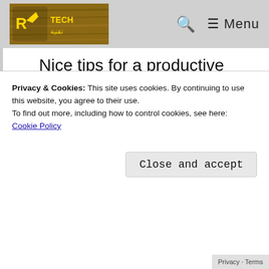Tech | Menu
Nice tips for a productive workspace at home. Being a freelance web and graphic designer, I have been working from home for the last 5 years. A distraction-free environment is a must to boost productivity. I often log out from my social media sites before starting my work. Facebook, Twitter, and Instagram
Privacy & Cookies: This site uses cookies. By continuing to use this website, you agree to their use. To find out more, including how to control cookies, see here: Cookie Policy
Close and accept
Privacy · Terms